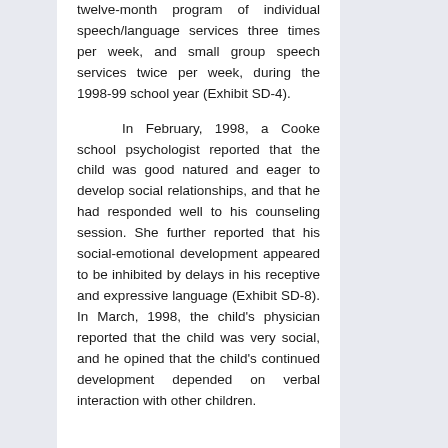recommended that he receive a twelve-month program of individual speech/language services three times per week, and small group speech services twice per week, during the 1998-99 school year (Exhibit SD-4).
In February, 1998, a Cooke school psychologist reported that the child was good natured and eager to develop social relationships, and that he had responded well to his counseling session. She further reported that his social-emotional development appeared to be inhibited by delays in his receptive and expressive language (Exhibit SD-8). In March, 1998, the child's physician reported that the child was very social, and he opined that the child's continued development depended on verbal interaction with other children. He recommended a less isolating setting